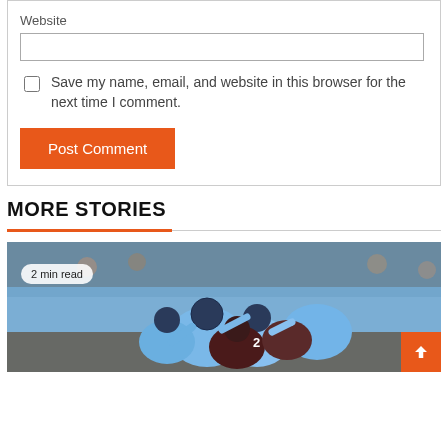Website
Save my name, email, and website in this browser for the next time I comment.
Post Comment
MORE STORIES
[Figure (photo): Football players in a game action shot, players wearing light blue jerseys. Badge shows '2 min read'.]